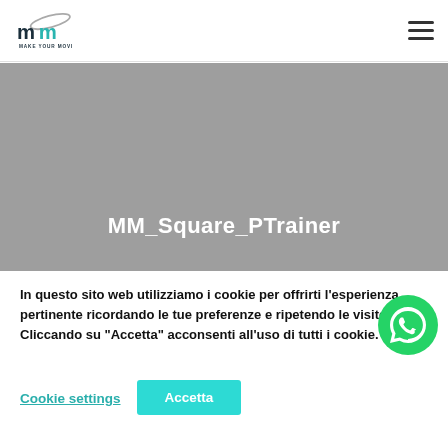MM Make Your Move — navigation header with logo and hamburger menu
[Figure (illustration): Grey hero banner background with centered white bold title MM_Square_PTrainer]
MM_Square_PTrainer
In questo sito web utilizziamo i cookie per offrirti l'esperienza pertinente ricordando le tue preferenze e ripetendo le visite. Cliccando su "Accetta" acconsenti all'uso di tutti i cookie.
[Figure (illustration): WhatsApp green circular button icon]
Cookie settings
Accetta